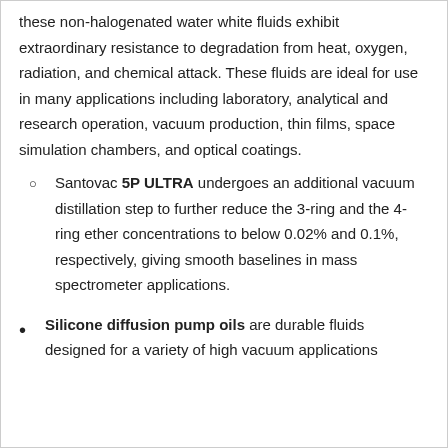these non-halogenated water white fluids exhibit extraordinary resistance to degradation from heat, oxygen, radiation, and chemical attack. These fluids are ideal for use in many applications including laboratory, analytical and research operation, vacuum production, thin films, space simulation chambers, and optical coatings.
Santovac 5P ULTRA undergoes an additional vacuum distillation step to further reduce the 3-ring and the 4-ring ether concentrations to below 0.02% and 0.1%, respectively, giving smooth baselines in mass spectrometer applications.
Silicone diffusion pump oils are durable fluids designed for a variety of high vacuum applications